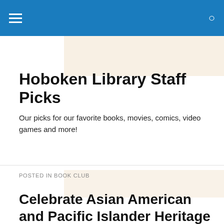Hoboken Library Staff Picks — navigation header with hamburger menu and search icon
Hoboken Library Staff Picks
Our picks for our favorite books, movies, comics, video games and more!
POSTED IN BOOK CLUB
Celebrate Asian American and Pacific Islander Heritage Month!
[Figure (photo): Two book covers partially visible at the bottom: a blue cover with a figure on the left, and a red cover with the word INTERIOR on the right]